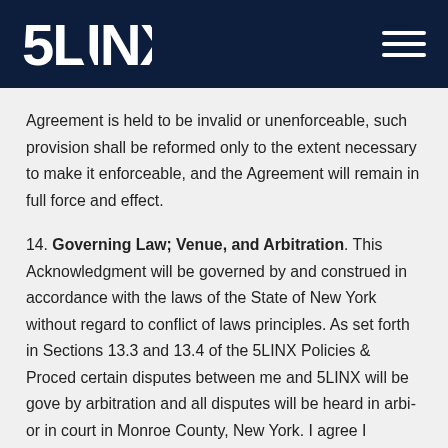5LINX
Agreement is held to be invalid or unenforceable, such provision shall be reformed only to the extent necessary to make it enforceable, and the Agreement will remain in full force and effect.
14. Governing Law; Venue, and Arbitration. This Acknowledgment will be governed by and construed in accordance with the laws of the State of New York without regard to conflict of laws principles. As set forth in Sections 13.3 and 13.4 of the 5LINX Policies & Proced... certain disputes between me and 5LINX will be gove... by arbitration and all disputes will be heard in arbi... or in court in Monroe County, New York. I agree I... reviewed Sections 13.3 and 13.4 of the 5LINX Policies &